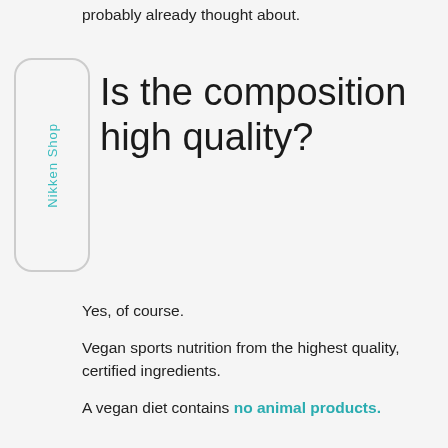probably already thought about.
Is the composition high quality?
Yes, of course.
Vegan sports nutrition from the highest quality, certified ingredients.
A vegan diet contains no animal products.
And high-quality ingredients also lead to a high nutritional content. So with the satisfying vegan food substitute, you get exactly the energy you need for an active life. The vanilla-flavored shake satisfies your hunger and provides you with fortifying carbohydrates even when you're on the go or at work.
Whether for breakfast, lunch, dinner or as a drinkable snack in between: You can take the Vegan Meal as a quick snack or as a complete meal replacement.